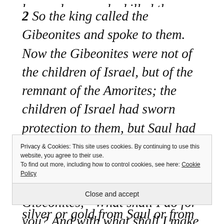house, because he killed the Gibeonites.
2 So the king called the Gibeonites and spoke to them. Now the Gibeonites were not of the children of Israel, but of the remnant of the Amorites; the children of Israel had sworn protection to them, but Saul had sought to kill them in his zeal for the children of Israel and Judah.3 Therefore David said to the Gibeonites, “What shall I do for you? And with what shall I make
Privacy & Cookies: This site uses cookies. By continuing to use this website, you agree to their use.
To find out more, including how to control cookies, see here: Cookie Policy
Close and accept
silver or gold from Saul or from his house,